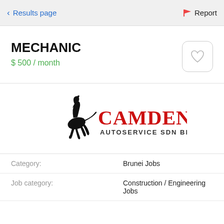< Results page    🚩 Report
MECHANIC
$ 500 / month
[Figure (logo): Camden Autoservice Sdn Bhd logo with rearing horse silhouette and red CAMDEN text above AUTOSERVICE SDN BHD]
| Category: | Brunei Jobs |
| Job category: | Construction / Engineering Jobs |